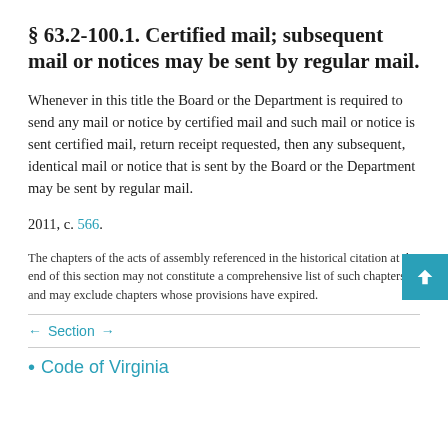§ 63.2-100.1. Certified mail; subsequent mail or notices may be sent by regular mail.
Whenever in this title the Board or the Department is required to send any mail or notice by certified mail and such mail or notice is sent certified mail, return receipt requested, then any subsequent, identical mail or notice that is sent by the Board or the Department may be sent by regular mail.
2011, c. 566.
The chapters of the acts of assembly referenced in the historical citation at the end of this section may not constitute a comprehensive list of such chapters and may exclude chapters whose provisions have expired.
← Section →
• Code of Virginia